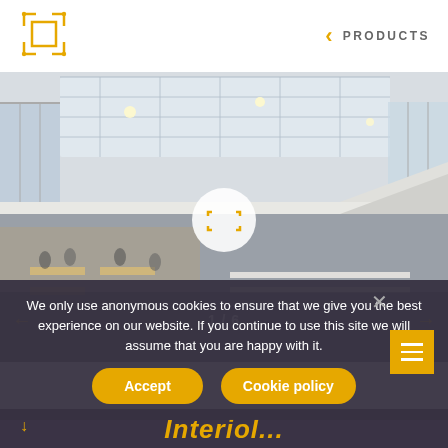[Figure (logo): Square bracket/frame logo icon in orange/gold color]
< PRODUCTS
[Figure (photo): Interior of a modern office/commercial building atrium with multiple floors, glass walls, white staircases, people sitting and standing at tables, bright skylight ceiling. Image counter showing 1/6 with left/right navigation arrows and an expand icon circle in the center.]
We only use anonymous cookies to ensure that we give you the best experience on our website. If you continue to use this site we will assume that you are happy with it.
Accept
Cookie policy
Interiol...